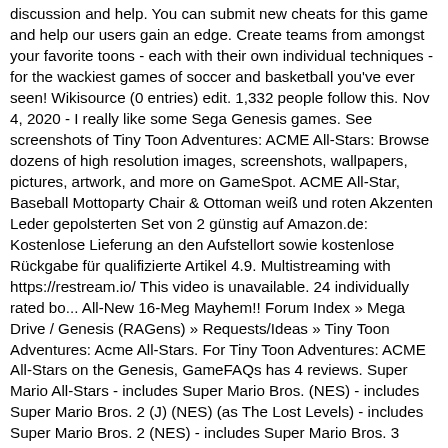discussion and help. You can submit new cheats for this game and help our users gain an edge. Create teams from amongst your favorite toons - each with their own individual techniques - for the wackiest games of soccer and basketball you've ever seen! Wikisource (0 entries) edit. 1,332 people follow this. Nov 4, 2020 - I really like some Sega Genesis games. See screenshots of Tiny Toon Adventures: ACME All-Stars: Browse dozens of high resolution images, screenshots, wallpapers, pictures, artwork, and more on GameSpot. ACME All-Star, Baseball Mottoparty Chair & Ottoman weiß und roten Akzenten Leder gepolsterten Set von 2 günstig auf Amazon.de: Kostenlose Lieferung an den Aufstellort sowie kostenlose Rückgabe für qualifizierte Artikel 4.9. Multistreaming with https://restream.io/ This video is unavailable. 24 individually rated bo... All-New 16-Meg Mayhem!! Forum Index » Mega Drive / Genesis (RAGens) » Requests/Ideas » Tiny Toon Adventures: Acme All-Stars. For Tiny Toon Adventures: ACME All-Stars on the Genesis, GameFAQs has 4 reviews. Super Mario All-Stars - includes Super Mario Bros. (NES) - includes Super Mario Bros. 2 (J) (NES) (as The Lost Levels) - includes Super Mario Bros. 2 (NES) - includes Super Mario Bros. 3 (NES) Super Mario Kart. Issues covered: a man without a fairy, the antithesis of our last game, not being sure where we stopped, a surprising discovery, "I'm Mr. There is a game for Microsoft Windows by the name of Tiny Toon Adventures: Buster and the … Brett Hull Hockey '95 - 19. Oh and on more thing, don't forget to press "B" repeatedly whenever the girl's face flashes (that's "panic mode"). For Tiny Toon Adventures: ACME All-Stars on the Genesis, a box shot for the US - 1994-12-31 release on GameFAQs. I remember spending a lot of time with A.S.P. Now those crazy Tiny Toon Adventures characters are getting active the hard Now the